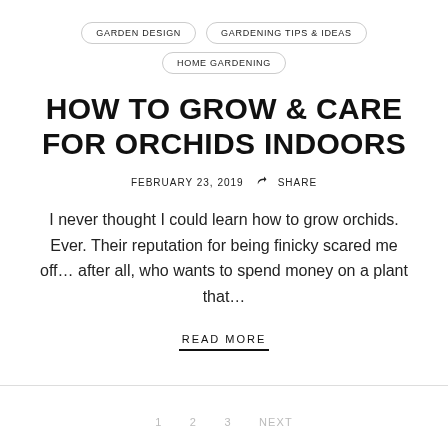GARDEN DESIGN   GARDENING TIPS & IDEAS   HOME GARDENING
HOW TO GROW & CARE FOR ORCHIDS INDOORS
FEBRUARY 23, 2019   SHARE
I never thought I could learn how to grow orchids. Ever. Their reputation for being finicky scared me off... after all, who wants to spend money on a plant that...
READ MORE
1   2   3   NEXT